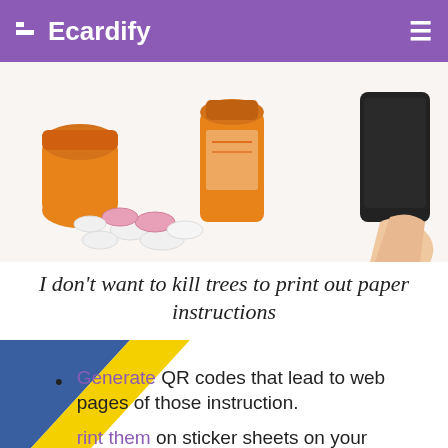Ecardify
[Figure (photo): Photo of orange prescription pill bottles with white and pink tablets/pills spilling out, alongside a hand holding a smartphone, on a white background.]
I don't want to kill trees to print out paper instructions
Generate QR codes that lead to web pages of those instruction.
Print them on sticker sheets on your home/office printer.
sticker and attach it on the cap